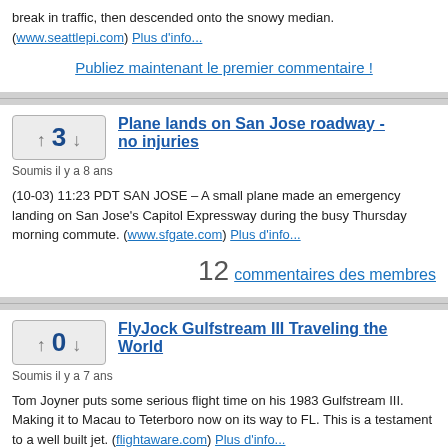break in traffic, then descended onto the snowy median. (www.seattlepi.com) Plus d'info...
Publiez maintenant le premier commentaire !
Plane lands on San Jose roadway - no injuries
Soumis il y a 8 ans
(10-03) 11:23 PDT SAN JOSE – A small plane made an emergency landing on San Jose's Capitol Expressway during the busy Thursday morning commute. (www.sfgate.com) Plus d'info...
12 commentaires des membres
FlyJock Gulfstream III Traveling the World
Soumis il y a 7 ans
Tom Joyner puts some serious flight time on his 1983 Gulfstream III. Making it to Macau to Teterboro now on its way to FL. This is a testament to a well built jet. (flightaware.com) Plus d'info...